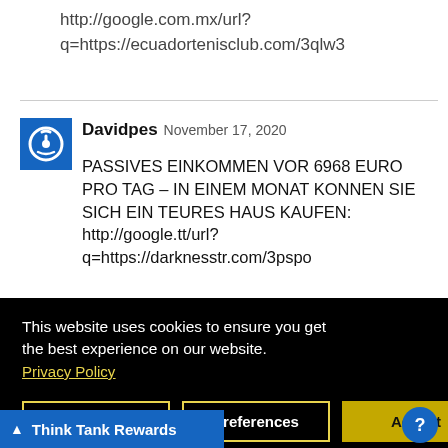http://google.com.mx/url?q=https://ecuadortenisclub.com/3qlw3
Davidpes November 17, 2020
PASSIVES EINKOMMEN VOR 6968 EURO PRO TAG – IN EINEM MONAT KONNEN SIE SICH EIN TEURES HAUS KAUFEN: http://google.tt/url?q=https://darknesstr.com/3pspo
[Figure (screenshot): Cookie consent overlay with black background, text 'This website uses cookies to ensure you get the best experience on our website.', Privacy Policy link, and three buttons: Close, Preferences, Accept]
OR 9045 AHRUNG:
IET VON MONAT AUS
SICH EIN TEURES HAUS